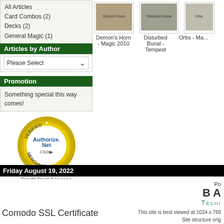All Articles
Card Combos (2)
Decks (2)
General Magic (1)
Articles by Author
Please Select
Promotion
Something special this way comes!
[Figure (logo): Authorize.Net Verified Merchant badge - gold circular seal with blue Authorize.Net text]
Credit Card Services
[Figure (photo): Demon's Horn - Magic 2010 card image]
Demon's Horn - Magic 2010
[Figure (photo): Disturbed Burial - Tempest card image]
Disturbed Burial - Tempest
[Figure (photo): Orbs - Magic card image (partially visible)]
Orbs - Ma...
Friday August 19, 2022
Po
B A
TECHI
This site is best viewed at 1024 x 768
Site structure orig
All Magic the Gathering (mtg), Magic Cards, Ma...
Comodo SSL Certificate